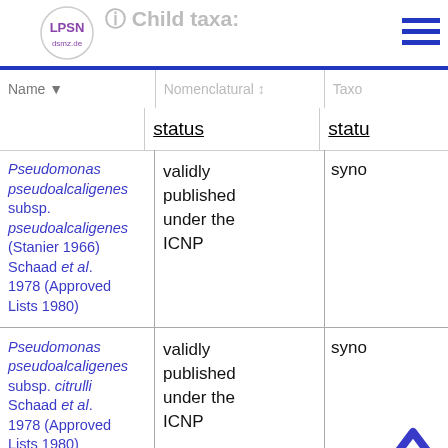Child taxa:
| Name | Nomenclatural status | Taxonomic status |
| --- | --- | --- |
| Pseudomonas pseudoalcaligenes subsp. pseudoalcaligenes (Stanier 1966) Schaad et al. 1978 (Approved Lists 1980) | validly published under the ICNP | synonym |
| Pseudomonas pseudoalcaligenes subsp. citrulli Schaad et al. 1978 (Approved Lists 1980) | validly published under the ICNP | synonym |